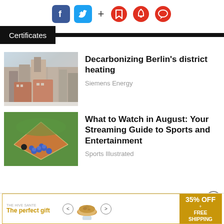[Figure (other): Social media icons row: Facebook (blue), Twitter (blue), plus sign, and three red icons (bookmark, bell, chat)]
Certificates
Decarbonizing Berlin's district heating
Siemens Energy
[Figure (photo): Aerial view of Berlin city buildings in winter]
What to Watch in August: Your Streaming Guide to Sports and Entertainment
Sports Illustrated
[Figure (photo): Baseball players celebrating on field]
[Figure (other): Advertisement: The perfect gift - 35% OFF + FREE SHIPPING]